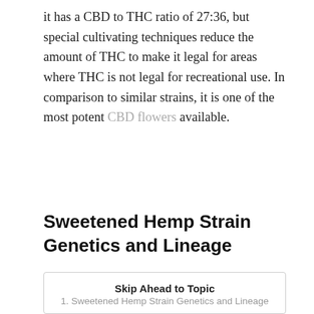it has a CBD to THC ratio of 27:36, but special cultivating techniques reduce the amount of THC to make it legal for areas where THC is not legal for recreational use. In comparison to similar strains, it is one of the most potent CBD flowers available.
Sweetened Hemp Strain Genetics and Lineage
| Skip Ahead to Topic |
| --- |
| 1. Sweetened Hemp Strain Genetics and Lineage |